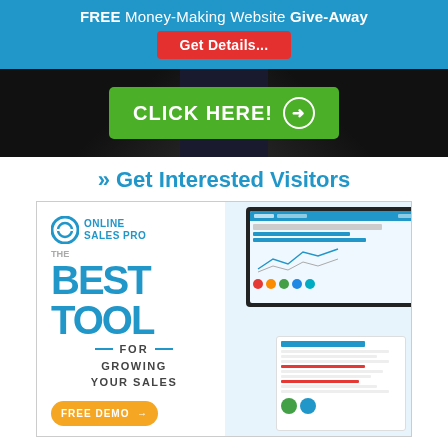FREE Money-Making Website Give-Away
Get Details...
[Figure (photo): Dark background banner with a green 'CLICK HERE!' button with arrow circle, person in dark clothing visible behind]
» Get Interested Visitors
[Figure (infographic): Online Sales Pro advertisement: logo, THE BEST TOOL FOR GROWING YOUR SALES, FREE DEMO button, dashboard screenshots on right]